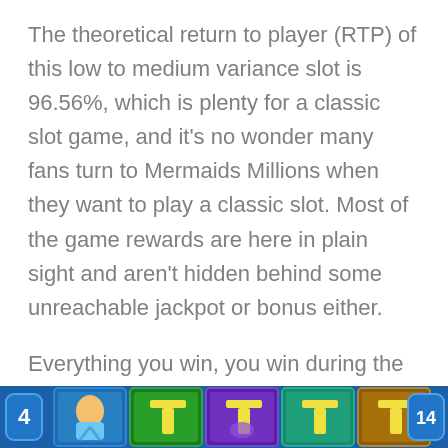The theoretical return to player (RTP) of this low to medium variance slot is 96.56%, which is plenty for a classic slot game, and it's no wonder many fans turn to Mermaids Millions when they want to play a classic slot. Most of the game rewards are here in plain sight and aren't hidden behind some unreachable jackpot or bonus either.
Everything you win, you win during the base game, and these two bonus features get triggered often. The Free Spins Bonus is the better of the two, as all wins are tripled, and this is your goal in this game, to reach the free spins game early and as often as possible.
[Figure (screenshot): Bottom strip showing slot game symbols/icons with colorful tile graphics including numbered badges '4' and '14' on the sides, and various slot machine symbol tiles in between on a blue background.]